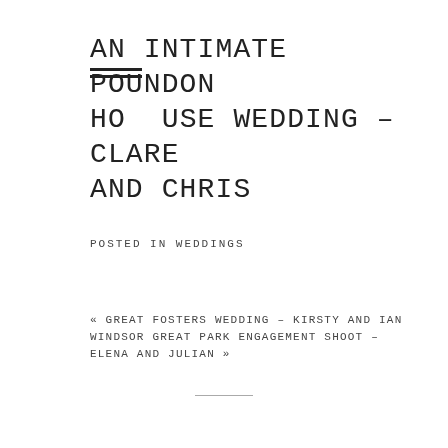AN INTIMATE POUNDON HOUSE WEDDING – CLARE AND CHRIS
POSTED IN WEDDINGS
« GREAT FOSTERS WEDDING – KIRSTY AND IAN WINDSOR GREAT PARK ENGAGEMENT SHOOT – ELENA AND JULIAN »